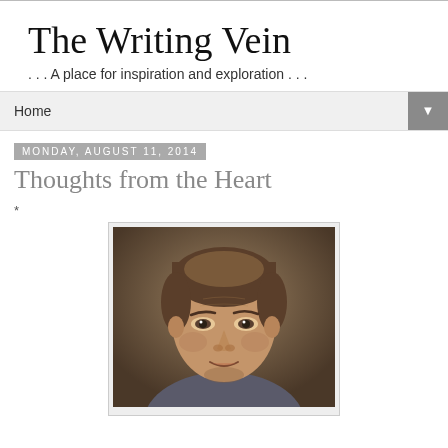The Writing Vein
. . . A place for inspiration and exploration . . .
Home ▼
Monday, August 11, 2014
Thoughts from the Heart
*
[Figure (photo): Close-up portrait photo of a middle-aged man with short brown hair, looking slightly to the side with a subtle expression, against a brown/beige background]